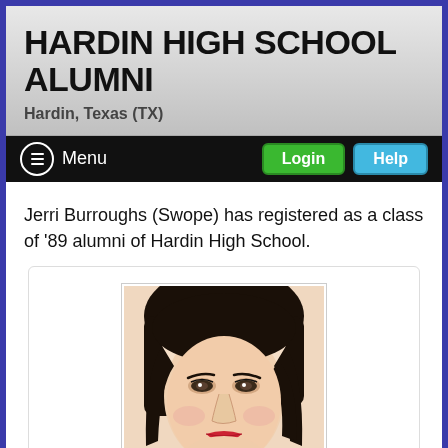HARDIN HIGH SCHOOL ALUMNI
Hardin, Texas (TX)
Jerri Burroughs (Swope) has registered as a class of '89 alumni of Hardin High School.
[Figure (photo): Portrait photo of a woman with dark hair, looking slightly to the side, with red lipstick]